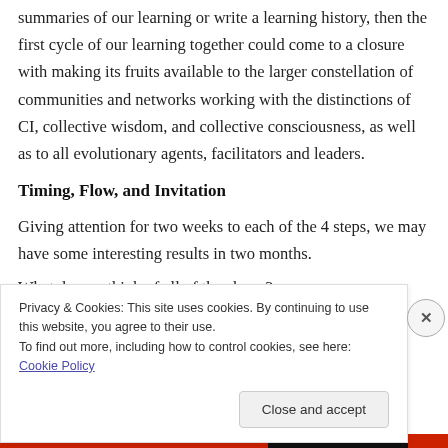summaries of our learning or write a learning history, then the first cycle of our learning together could come to a closure with making its fruits available to the larger constellation of communities and networks working with the distinctions of CI, collective wisdom, and collective consciousness, as well as to all evolutionary agents, facilitators and leaders.
Timing, Flow, and Invitation
Giving attention for two weeks to each of the 4 steps, we may have some interesting results in two months.
What do you think of all of the above?
Privacy & Cookies: This site uses cookies. By continuing to use this website, you agree to their use.
To find out more, including how to control cookies, see here: Cookie Policy